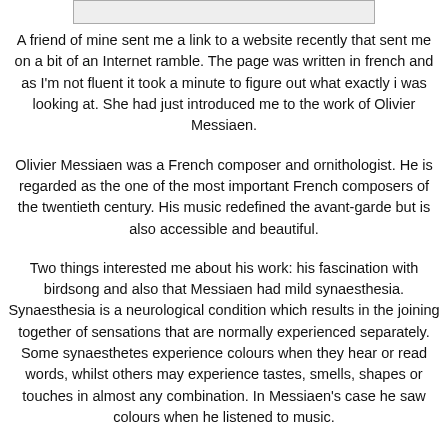[Figure (other): Partial image at top of page, light gray rectangle with border]
A friend of mine sent me a link to a website recently that sent me on a bit of an Internet ramble. The page was written in french and as I'm not fluent it took a minute to figure out what exactly i was looking at. She had just introduced me to the work of Olivier Messiaen.
Olivier Messiaen was a French composer and ornithologist. He is regarded as the one of the most important French composers of the twentieth century. His music redefined the avant-garde but is also accessible and beautiful.
Two things interested me about his work: his fascination with birdsong and also that Messiaen had mild synaesthesia. Synaesthesia is a neurological condition which results in the joining together of sensations that are normally experienced separately. Some synaesthetes experience colours when they hear or read words, whilst others may experience tastes, smells, shapes or touches in almost any combination. In Messiaen's case he saw colours when he listened to music.